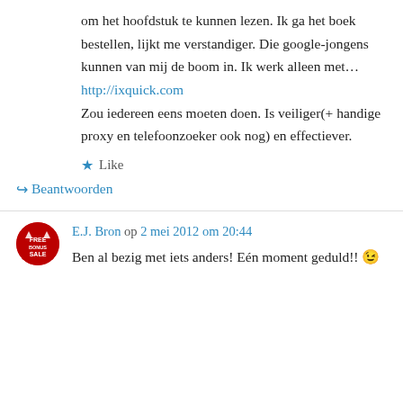om het hoofdstuk te kunnen lezen. Ik ga het boek bestellen, lijkt me verstandiger. Die google-jongens kunnen van mij de boom in. Ik werk alleen met…
http://ixquick.com
Zou iedereen eens moeten doen. Is veiliger(+ handige proxy en telefoonzoeker ook nog) en effectiever.
★ Like
↪ Beantwoorden
E.J. Bron op 2 mei 2012 om 20:44
Ben al bezig met iets anders! Eén moment geduld!! 😉